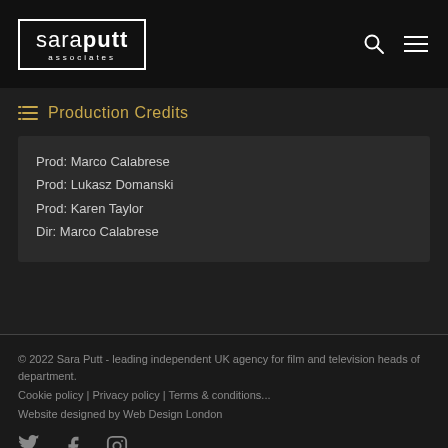sara putt associates
Production Credits
Prod: Marco Calabrese
Prod: Lukasz Domanski
Prod: Karen Taylor
Dir: Marco Calabrese
© 2022 Sara Putt - leading independent UK agency for film and television heads of department. Cookie policy | Privacy policy | Terms & conditions... Website designed by Web Design London